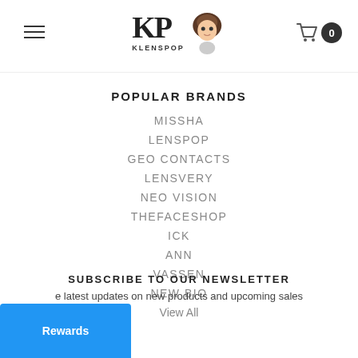KLENSPOP navigation header with logo and cart
POPULAR BRANDS
MISSHA
LENSPOP
GEO CONTACTS
LENSVERY
NEO VISION
THEFACESHOP
ICK
ANN
VASSEN
NEW BIO
View All
SUBSCRIBE TO OUR NEWSLETTER
e latest updates on new products and upcoming sales